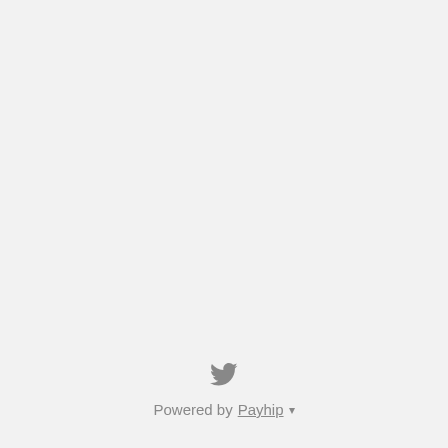[Figure (logo): Twitter bird icon in gray]
Powered by Payhip ▾